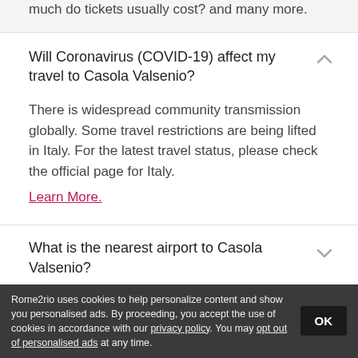much do tickets usually cost? and many more.
Will Coronavirus (COVID-19) affect my travel to Casola Valsenio?
There is widespread community transmission globally. Some travel restrictions are being lifted in Italy. For the latest travel status, please check the official page for Italy.
Learn More.
What is the nearest airport to Casola Valsenio?
How long does it take to get to Casola Valsenio from
Rome2rio uses cookies to help personalize content and show you personalised ads. By proceeding, you accept the use of cookies in accordance with our privacy policy. You may opt out of personalised ads at any time.